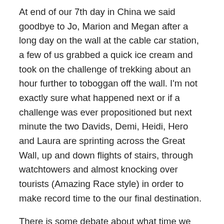At end of our 7th day in China we said goodbye to Jo, Marion and Megan after a long day on the wall at the cable car station, a few of us grabbed a quick ice cream and took on the challenge of trekking about an hour further to toboggan off the wall. I'm not exactly sure what happened next or if a challenge was ever propositioned but next minute the two Davids, Demi, Heidi, Hero and Laura are sprinting across the Great Wall, up and down flights of stairs, through watchtowers and almost knocking over tourists (Amazing Race style) in order to make record time to the our final destination.
There is some debate about what time we actually began but what Hero thought should take at least 60 minutes we finished in between 15 and 20 minutes. When we arrived at the toboggan entrance, they had just shut. Luckily, Hero convinced the ticket seller to remain open for our group to take the ride down from the top of the wall to the car park. We all jumped on our toboggans like little kids and raced on